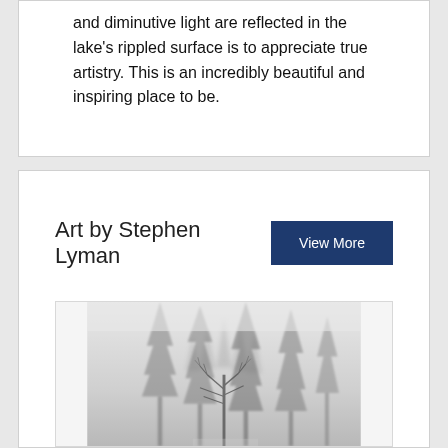and diminutive light are reflected in the lake's rippled surface is to appreciate true artistry. This is an incredibly beautiful and inspiring place to be.
Art by Stephen Lyman
[Figure (photo): Black and white or misty grey-toned painting/photograph of tall evergreen trees (conifers) in fog, with a smaller bare deciduous tree in the foreground, creating a serene winter forest scene.]